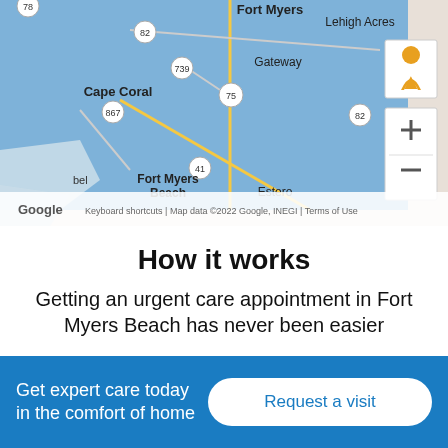[Figure (map): Google Maps screenshot showing Fort Myers Beach area with blue service coverage overlay. Shows Cape Coral, Gateway, Lehigh Acres, Estero, Fort Myers Beach. Map controls visible including zoom in/out and street view. Footer shows 'Keyboard shortcuts | Map data ©2022 Google, INEGI | Terms of Use'.]
How it works
Getting an urgent care appointment in Fort Myers Beach has never been easier
Get expert care today in the comfort of home
Request a visit